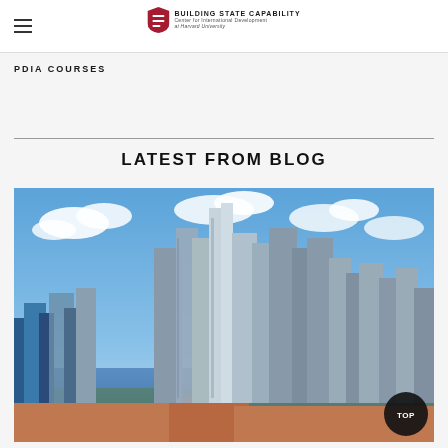BUILDING STATE CAPABILITY — Center for International Development at Harvard University
PDIA COURSES
LATEST FROM BLOG
[Figure (photo): Aerial panoramic view of a modern city skyline with tall skyscrapers under a blue sky with white clouds, waterfront visible in the background. A circular black 'TOP' button overlaid in the bottom-right corner.]